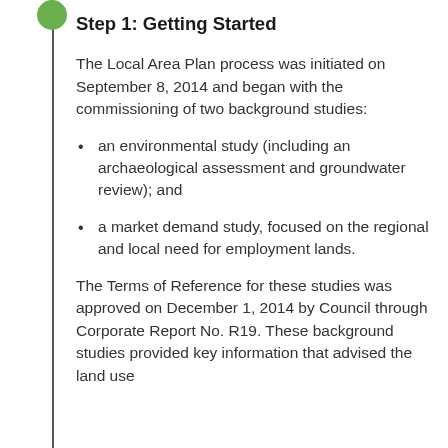Step 1: Getting Started
The Local Area Plan process was initiated on September 8, 2014 and began with the commissioning of two background studies:
an environmental study (including an archaeological assessment and groundwater review); and
a market demand study, focused on the regional and local need for employment lands.
The Terms of Reference for these studies was approved on December 1, 2014 by Council through Corporate Report No. R19. These background studies provided key information that advised the land use